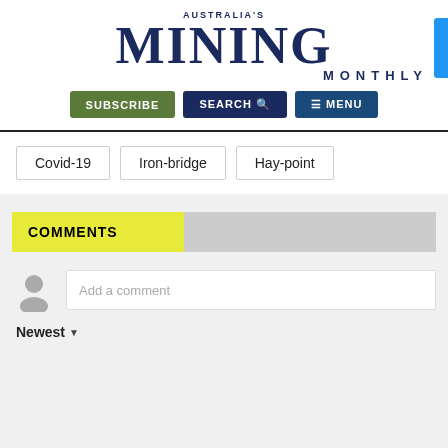[Figure (logo): Australia's Mining Monthly logo with SUBSCRIBE, SEARCH and MENU navigation buttons]
Covid-19
Iron-bridge
Hay-point
COMMENTS
Add a comment
Newest ▼